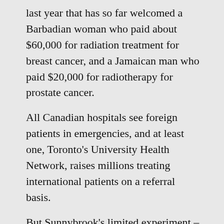last year that has so far welcomed a Barbadian woman who paid about $60,000 for radiation treatment for breast cancer, and a Jamaican man who paid $20,000 for radiotherapy for prostate cancer.
All Canadian hospitals see foreign patients in emergencies, and at least one, Toronto's University Health Network, raises millions treating international patients on a referral basis.
But Sunnybrook's limited experiment – the hospital is treading carefully, planning to treat fewer than 10 international patients in a one-year pilot phase – is different in that the hospital is openly soliciting medical tourists.